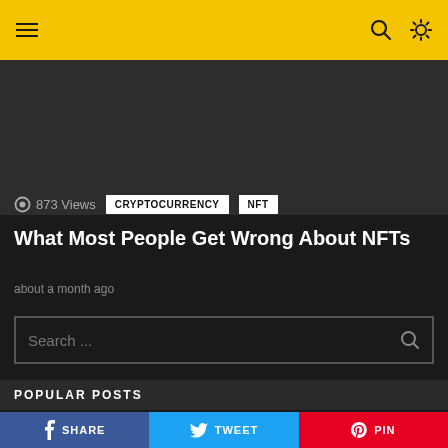Navigation bar with hamburger menu, search and theme icons
[Figure (photo): Dark gray placeholder image area for article hero image]
873 Views   CRYPTOCURRENCY   NFT
What Most People Get Wrong About NFTs
about a month ago
Search ...
POPULAR POSTS
Tips for Mining Bitcoin in 2022: Wh... Introduction Back when it was launched in 2009, Mining...
SHARE   TWEET   PIN